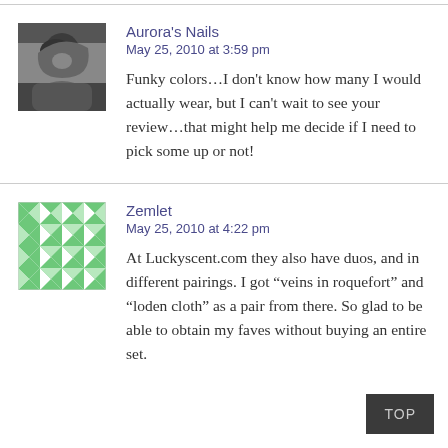[Figure (photo): Black and white profile photo of a woman]
Aurora's Nails
May 25, 2010 at 3:59 pm

Funky colors…I don't know how many I would actually wear, but I can't wait to see your review…that might help me decide if I need to pick some up or not!
[Figure (illustration): Green and white geometric quilt-pattern avatar]
Zemlet
May 25, 2010 at 4:22 pm

At Luckyscent.com they also have duos, and in different pairings. I got "veins in roquefort" and "loden cloth" as a pair from there. So glad to be able to obtain my faves without buying an entire set.